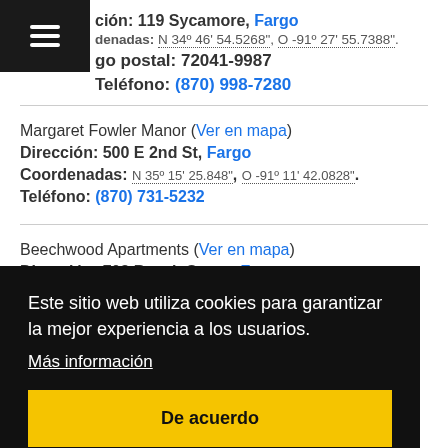Dirección: 119 Sycamore, Fargo
Coordenadas: N 34º 46' 54.5268", O -91º 27' 55.7388".
Código postal: 72041-9987
Teléfono: (870) 998-7280
Margaret Fowler Manor (Ver en mapa)
Dirección: 500 E 2nd St, Fargo
Coordenadas: N 35º 15' 25.848", O -91º 11' 42.0828".
Teléfono: (870) 731-5232
Beechwood Apartments (Ver en mapa)
Dirección: 703 Beech Street, Fargo
Este sitio web utiliza cookies para garantizar la mejor experiencia a los usuarios.
Más información
De acuerdo
Warden's Twin Lake Apartments (Ver en mapa)